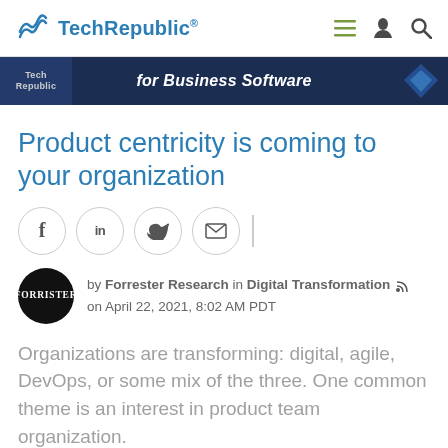TechRepublic
[Figure (screenshot): Banner advertisement for Business Software with dark blue background and text 'for Business Software']
Product centricity is coming to your organization
[Figure (infographic): Social share buttons: Facebook (f), LinkedIn (in), Twitter (bird icon), Email (envelope icon)]
by Forrester Research in Digital Transformation on April 22, 2021, 8:02 AM PDT
Organizations are transforming: digital, agile, DevOps, or some mix of the three. One common theme is an interest in product team organization.